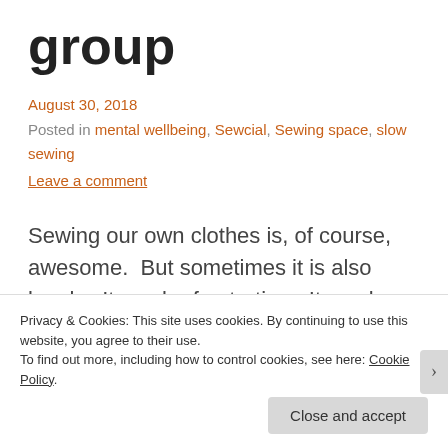group
August 30, 2018
Posted in mental wellbeing, Sewcial, Sewing space, slow sewing
Leave a comment
Sewing our own clothes is, of course, awesome.  But sometimes it is also lonely.  It can be frustrating.  It can be expensive.  We
Privacy & Cookies: This site uses cookies. By continuing to use this website, you agree to their use.
To find out more, including how to control cookies, see here: Cookie Policy